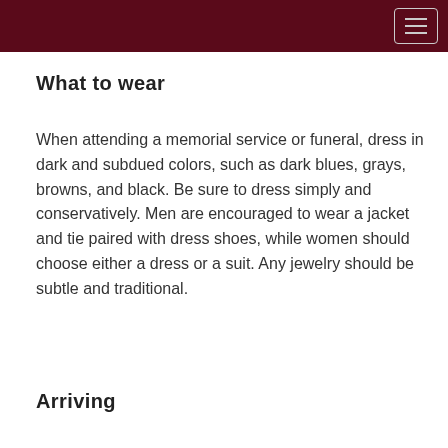What to wear
When attending a memorial service or funeral, dress in dark and subdued colors, such as dark blues, grays, browns, and black. Be sure to dress simply and conservatively. Men are encouraged to wear a jacket and tie paired with dress shoes, while women should choose either a dress or a suit. Any jewelry should be subtle and traditional.
Arriving